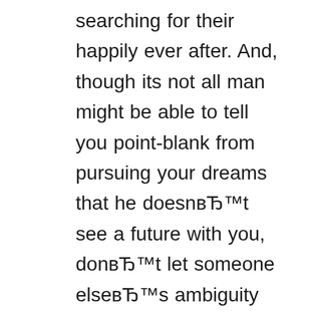searching for their happily ever after. And, though its not all man might be able to tell you point-blank from pursuing your dreams that he doesnвЂ™t see a future with you, donвЂ™t let someone elseвЂ™s ambiguity derail you. Who knows, possibly in endeavoring to put on indecisive times accountable, theyвЂ™ll be better equipped to communicate their emotions to your person that is next.